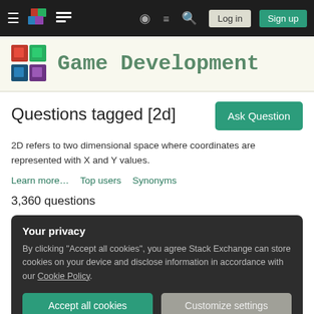Game Development Stack Exchange — Navigation bar with Log in and Sign up buttons
[Figure (logo): Game Development Stack Exchange site logo with colorful 3D blocks and pixelated text 'Game Development']
Questions tagged [2d]
2D refers to two dimensional space where coordinates are represented with X and Y values.
Learn more… Top users Synonyms
3,360 questions
Your privacy
By clicking "Accept all cookies", you agree Stack Exchange can store cookies on your device and disclose information in accordance with our Cookie Policy.
Accept all cookies   Customize settings
Information/context I'm writing a 2D sandbox game - similar to Terraria. The world is